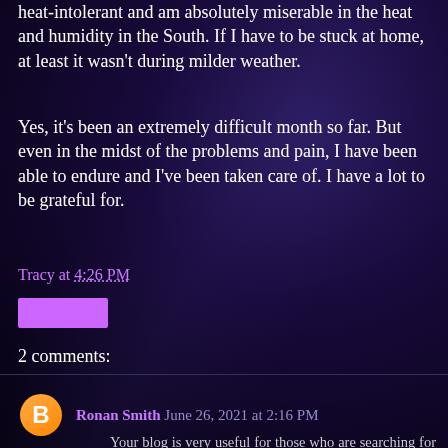heat-intolerant and am absolutely miserable in the heat and humidity in the South. If I have to be stuck at home, at least it wasn't during milder weather.
Yes, it's been an extremely difficult month so far. But even in the midst of the problems and pain, I have been able to endure and I've been taken care of. I have a lot to be grateful for.
Tracy at 4:26 PM
2 comments:
Ronan Smith  June 26, 2021 at 2:16 PM
Your blog is very useful for those who are searching for this kind of information, this information is a solution for those who are confused about it. Thanks for sharing this blog with us.back pain clinic Surprise AZ
Reply